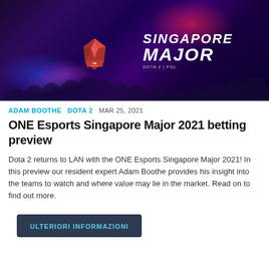[Figure (illustration): ONE Esports Singapore Major 2021 promotional banner with dark purple background, neon lighting effects, and bold white text reading 'SINGAPORE MAJOR' with ONE Esports logo and DOTA 2 / PGL branding.]
ADAM BOOTHE   DOTA 2   MAR 25, 2021
ONE Esports Singapore Major 2021 betting preview
Dota 2 returns to LAN with the ONE Esports Singapore Major 2021! In this preview our resident expert Adam Boothe provides his insight into the teams to watch and where value may lie in the market. Read on to find out more.
ULTERIORI INFORMAZIONI